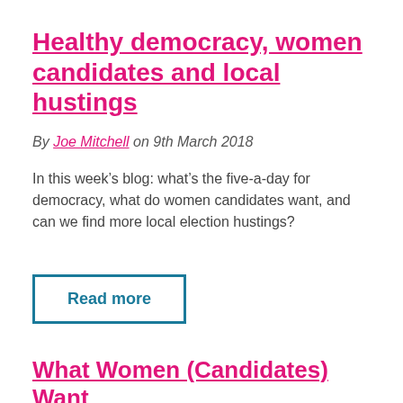Healthy democracy, women candidates and local hustings
By Joe Mitchell on 9th March 2018
In this week’s blog: what’s the five-a-day for democracy, what do women candidates want, and can we find more local election hustings?
Read more
What Women (Candidates) Want